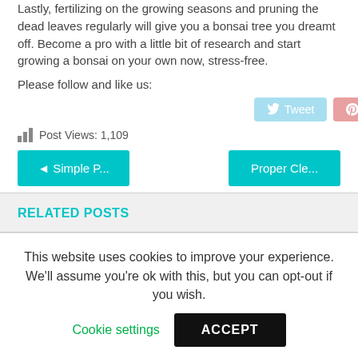Lastly, fertilizing on the growing seasons and pruning the dead leaves regularly will give you a bonsai tree you dreamt off. Become a pro with a little bit of research and start growing a bonsai on your own now, stress-free.
Please follow and like us:
[Figure (infographic): Tweet and Save social sharing buttons]
Post Views: 1,109
◄ Simple P...
Proper Cle...
RELATED POSTS
This website uses cookies to improve your experience. We'll assume you're ok with this, but you can opt-out if you wish.
Cookie settings
ACCEPT